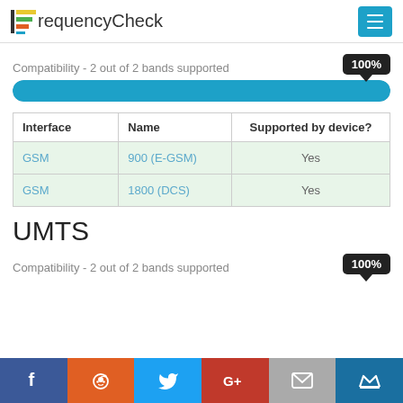FrequencyCheck
Compatibility - 2 out of 2 bands supported 100%
| Interface | Name | Supported by device? |
| --- | --- | --- |
| GSM | 900 (E-GSM) | Yes |
| GSM | 1800 (DCS) | Yes |
UMTS
Compatibility - 2 out of 2 bands supported 100%